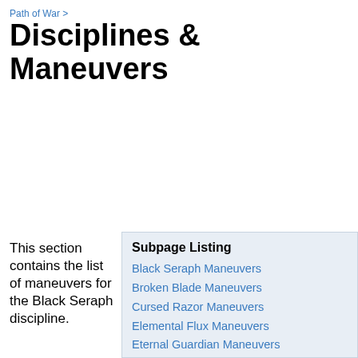Path of War >
Disciplines & Maneuvers
This section contains the list of maneuvers for the Black Seraph discipline.
Subpage Listing
Black Seraph Maneuvers
Broken Blade Maneuvers
Cursed Razor Maneuvers
Elemental Flux Maneuvers
Eternal Guardian Maneuvers